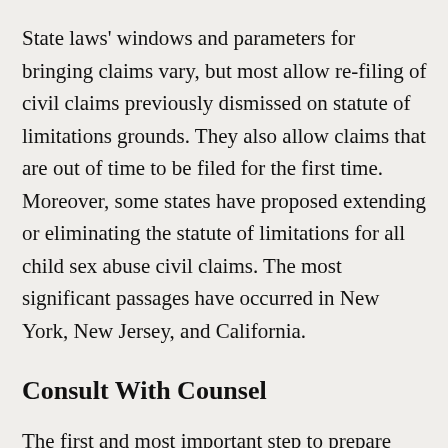State laws' windows and parameters for bringing claims vary, but most allow re-filing of civil claims previously dismissed on statute of limitations grounds. They also allow claims that are out of time to be filed for the first time. Moreover, some states have proposed extending or eliminating the statute of limitations for all child sex abuse civil claims. The most significant passages have occurred in New York, New Jersey, and California.
Consult With Counsel
The first and most important step to prepare